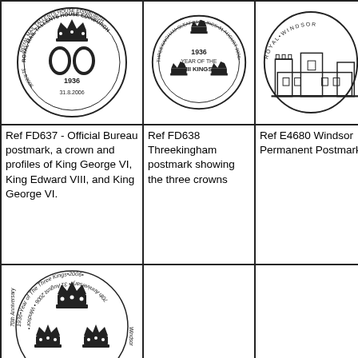[Figure (illustration): Royal Mail Tallents House Edinburgh circular postmark with crown and profiles of three kings, dated 1936 and 31.8.2006]
[Figure (illustration): Threekingham Sleaford Lincs circular postmark with three crowns, 1936 Year of the III Kings, 31 August 2006]
[Figure (illustration): Windsor castle postmark, oval shape showing Windsor Castle illustration]
[Figure (illustration): Partial circular postmark - King's Heath area, partially cropped]
Ref FD637 - Official Bureau postmark, a crown and profiles of King George VI, King Edward VIII, and King George VI.
Ref FD638 Threekingham postmark showing the three crowns
Ref E4680 Windsor Permanent Postmark
Ref M... Year o... Kings... Birmi...
[Figure (illustration): 1936-Year of The Three Kings-2006 circular postmark with three crowns, 70th Anniversary, Windsor, 31 August 2006]
Ref L10163 1936 year of The Three Kings - 70th anniversary
Ref L10164 Three Kings Yard, London
Ref L10167 70th Anniversary Year of The Three Kings, Buckingham Gate
Ref L... 1936 Kings...